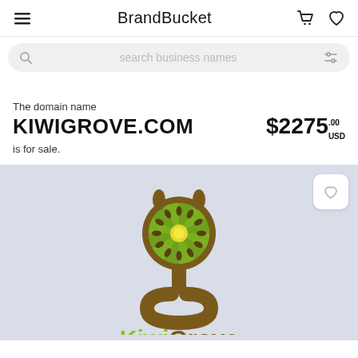BrandBucket
search business names
The domain name
KIWIGROVE.COM
is for sale.
$2275.00 USD
[Figure (logo): KiwiGrove logo — a stylized lowercase 'g' shape in brown with a kiwi fruit cross-section as the upper loop, and the text 'KiwiGrove' below in green and brown lettering]